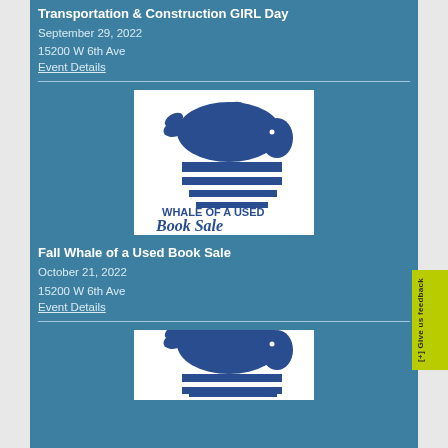Transportation & Construction GIRL Day
September 29, 2022
15200 W 6th Ave
Event Details
[Figure (illustration): Whale of a Used Book Sale logo showing a blue whale on top of stacked books with text 'WHALE OF A USED Book Sale']
Fall Whale of a Used Book Sale
October 21, 2022
15200 W 6th Ave
Event Details
[Figure (illustration): Whale of a Used Book Sale logo (partial) showing a blue whale on top of stacked books]